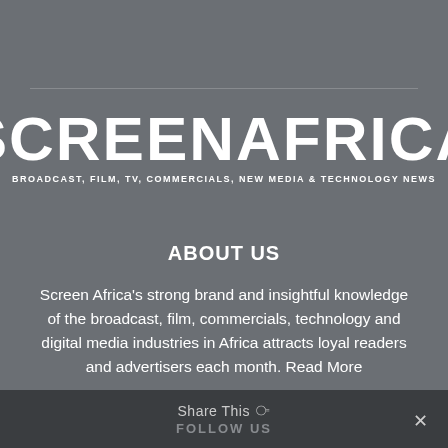[Figure (logo): Screen Africa logo with tagline: BROADCAST, FILM, TV, COMMERCIALS, NEW MEDIA & TECHNOLOGY NEWS]
ABOUT US
Screen Africa's strong brand and insightful knowledge of the broadcast, film, commercials, technology and digital media industries in Africa attracts loyal readers and advertisers each month. Read More
Share This ∨ FOLLOW US